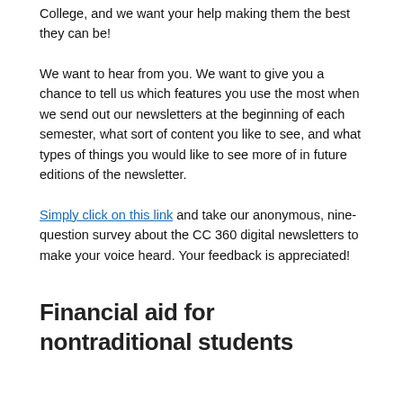College, and we want your help making them the best they can be!
We want to hear from you. We want to give you a chance to tell us which features you use the most when we send out our newsletters at the beginning of each semester, what sort of content you like to see, and what types of things you would like to see more of in future editions of the newsletter.
Simply click on this link and take our anonymous, nine-question survey about the CC 360 digital newsletters to make your voice heard. Your feedback is appreciated!
Financial aid for nontraditional students